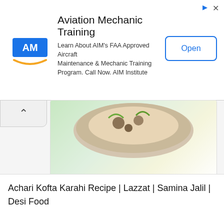[Figure (screenshot): Aviation Mechanic Training advertisement banner with AIM logo, descriptive text, and Open button]
Aviation Mechanic Training
Learn About AIM's FAA Approved Aircraft Maintenance & Mechanic Training Program. Call Now. AIM Institute
Achari Arvi Recipe | Tarka | Rida Aftab | Desi Food
[Figure (photo): A clay bowl filled with Achari Kofta Karahi recipe, showing meatballs with green chilies and red chilies in a spiced gravy]
Achari Kofta Karahi Recipe | Lazzat | Samina Jalil | Desi Food